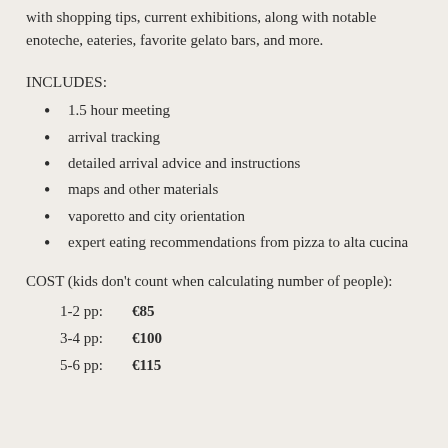with shopping tips, current exhibitions, along with notable enoteche, eateries, favorite gelato bars, and more.
INCLUDES:
1.5 hour meeting
arrival tracking
detailed arrival advice and instructions
maps and other materials
vaporetto and city orientation
expert eating recommendations from pizza to alta cucina
COST (kids don't count when calculating number of people):
1-2 pp:   €85
3-4 pp:   €100
5-6 pp:   €115